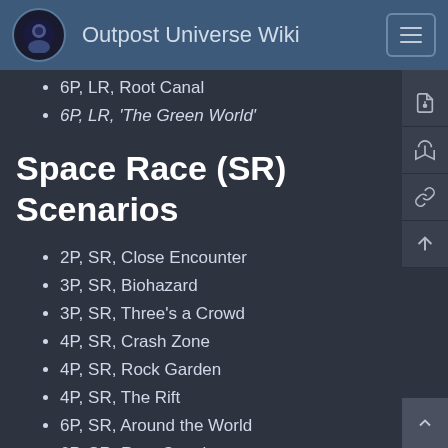Outpost Universe Wiki
6P, LR, Root Canal
6P, LR, 'The Green World'
Space Race (SR) Scenarios
2P, SR, Close Encounter
3P, SR, Biohazard
3P, SR, Three's a Crowd
4P, SR, Crash Zone
4P, SR, Rock Garden
4P, SR, The Rift
6P, SR, Around the World
6P, SR, Root Canal
Midas Scenarios